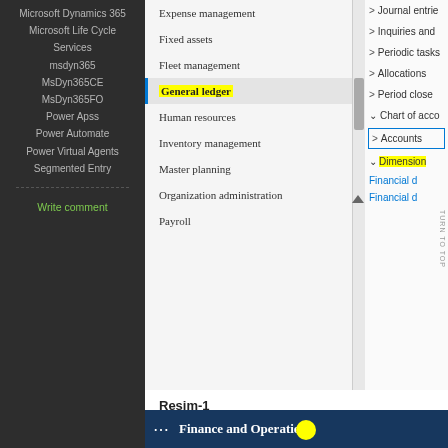[Figure (screenshot): Microsoft Dynamics 365 sidebar navigation showing menu items including Microsoft Dynamics 365, Microsoft Life Cycle Services, msdyn365, MsDyn365CE, MsDyn365FO, Power Apss, Power Automate, Power Virtual Agents, Segmented Entry, and a Write comment link. Next to it is a software UI panel showing a navigation menu with Expense management, Fixed assets, Fleet management, General ledger (highlighted/selected with blue bar and yellow highlight), Human resources, Inventory management, Master planning, Organization administration, Payroll. On the right side partial panel showing Journal entries, Inquiries and, Periodic tasks, Allocations, Period close, Chart of acco..., Accounts (boxed), Dimensions (highlighted yellow), Financial d... links.]
Resim-1
Bu formda hazırda kurulmuş boyutlar geliyor. New ile ben bu listeye nasıl ekleme yaptığımızı anlatacağım.
[Figure (screenshot): Microsoft Dynamics 365 Finance and Operations header bar showing dark navy blue bar with grid icon and bold white text 'Finance and Operations', partial bottom row visible with icons.]